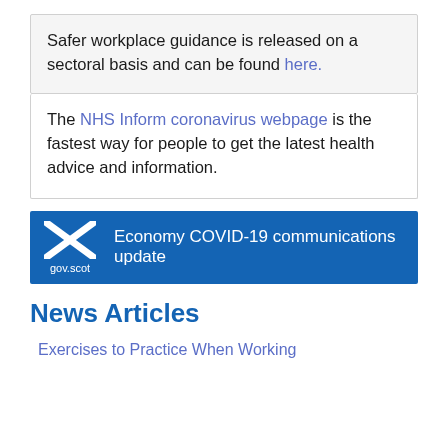Safer workplace guidance is released on a sectoral basis and can be found here.
The NHS Inform coronavirus webpage is the fastest way for people to get the latest health advice and information.
[Figure (logo): gov.scot banner with Scottish saltire flag logo and text 'Economy COVID-19 communications update']
News Articles
Exercises to Practice When Working